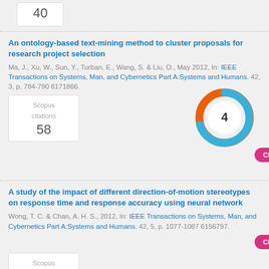40
An ontology-based text-mining method to cluster proposals for research project selection
Ma, J., Xu, W., Sun, Y., Turban, E., Wang, S. & Liu, O., May 2012, In: IEEE Transactions on Systems, Man, and Cybernetics Part A:Systems and Humans. 42, 3, p. 784-790 6171866.
[Figure (donut-chart): Donut chart showing value 4, blue and orange colors, CityU library logo style]
Scopus citations
58
Check@CityULib
A study of the impact of different direction-of-motion stereotypes on response time and response accuracy using neural network
Wong, T. C. & Chan, A. H. S., 2012, In: IEEE Transactions on Systems, Man, and Cybernetics Part A:Systems and Humans. 42, 5, p. 1077-1087 6156797.
Check@CityULib
Scopus citations
4